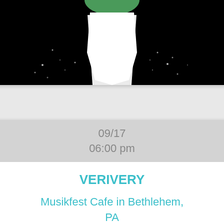[Figure (illustration): Partial view of a dark illustration on black background showing a figure from below waist, wearing a green top and white skirt, with sparkles/dots scattered around on a black background. Top portion of an event card.]
09/17
06:00 pm
VERIVERY
Musikfest Cafe in Bethlehem, PA
[Figure (illustration): Illustration of a female guitarist with long red hair, wearing a black jacket and blue jeans, playing a red electric guitar. Small sparkle/dot details scattered around on a black background.]